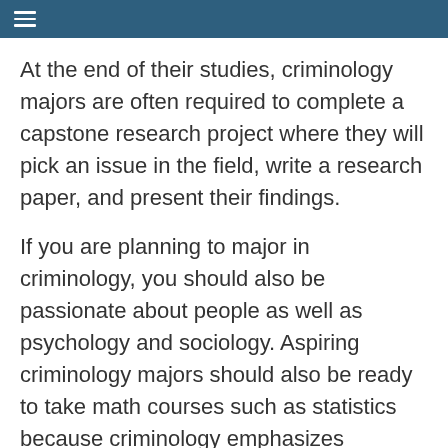≡
At the end of their studies, criminology majors are often required to complete a capstone research project where they will pick an issue in the field, write a research paper, and present their findings.
If you are planning to major in criminology, you should also be passionate about people as well as psychology and sociology. Aspiring criminology majors should also be ready to take math courses such as statistics because criminology emphasizes research methods.
If you choose to study criminology, you should also be prepared to talk about topics that can be mentally